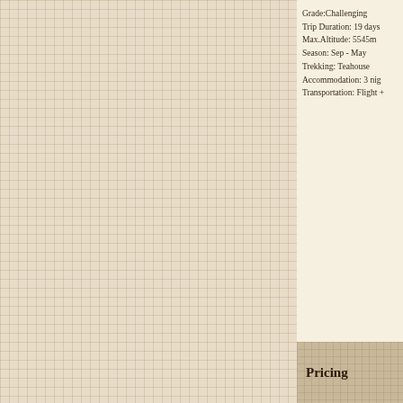[Figure (other): Grid-lined beige/tan background filling the left portion of the page]
Grade:Challenging
Trip Duration: 19 days
Max.Altitude: 5545m
Season: Sep - May
Trekking: Teahouse
Accommodation: 3 nights
Transportation: Flight +
Pricing